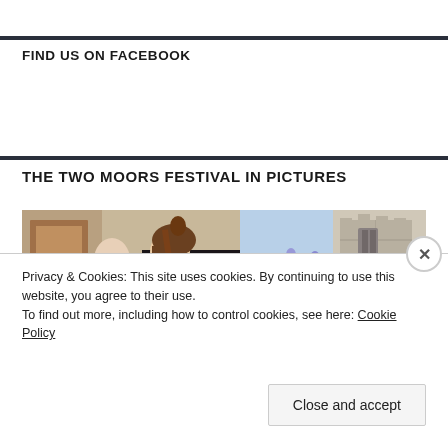FIND US ON FACEBOOK
THE TWO MOORS FESTIVAL IN PICTURES
[Figure (photo): Two photos side by side: left shows a young woman playing cello with another musician and a piano in the background; right shows purple bluebells in the foreground with a stone church tower behind.]
Privacy & Cookies: This site uses cookies. By continuing to use this website, you agree to their use.
To find out more, including how to control cookies, see here: Cookie Policy
Close and accept